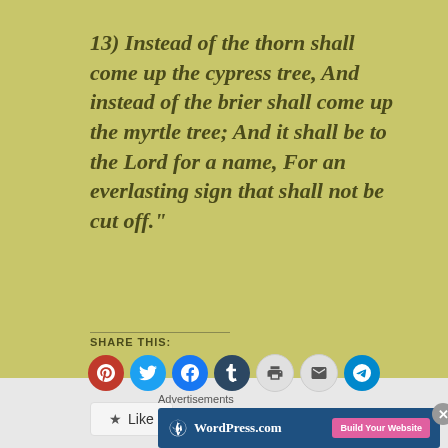13) Instead of the thorn shall come up the cypress tree, And instead of the brier shall come up the myrtle tree; And it shall be to the Lord for a name, For an everlasting sign that shall not be cut off."
SHARE THIS:
[Figure (infographic): Social share buttons: Pinterest (red), Twitter (blue), Facebook (blue), Tumblr (dark navy), Print (gray), Email (gray), Telegram (teal)]
[Figure (infographic): Like button with star icon]
Advertisements
[Figure (infographic): WordPress.com advertisement banner with Build Your Website button]